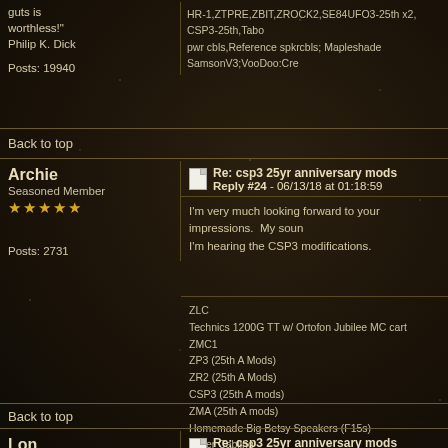guts is worthless!"
Philip K. Dick

Posts: 19940
HR-1,ZTPRE,ZBIT,ZROCK2,SE84UFO3-25th x2, CSP3-25th,Tabo pwr cbls,Reference spkrcbls; Mapleshade SamsonV3;VooDoo:Cre
Back to top
Archie
Seasoned Member
★★★★★

Posts: 2731
Re: csp3 25yr anniversary mods
Reply #24 - 06/13/18 at 01:18:59
I'm very much looking forward to your impressions.  My soun I'm hearing the CSP3 modifications.
ZLC
Technics 1200G TT w/ Ortofon Jubilee MC cart
ZMC1
ZP3 (25th A Mods)
ZR2 (25th A Mods)
CSP3 (25th A mods)
ZMA (25th A mods)
Homemade Big Betsy Speakers (F15s)
Silver Cabling
DIY Isolation platforms under amps & TT.
Back to top
Lon
Seasoned Member
★★★★★
Re: csp3 25yr anniversary mods
Reply #25 - 06/13/18 at 01:35:29
You know me, I won't be quiet about the component. Yes, I s